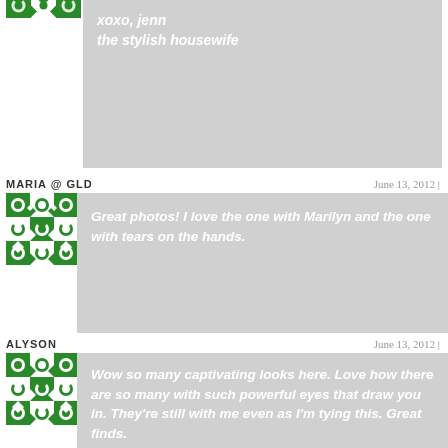xoxo, jenn
the stylish housewife
[Figure (illustration): Green geometric pattern avatar for first commenter]
MARIA @ GLD
June 13, 2012 |
[Figure (illustration): Green geometric pattern avatar for Maria @ GLD]
Great photos! I love the one with Marilyn and the one with tears on the hands.
ALYSON
June 13, 2012 |
[Figure (illustration): Green geometric pattern avatar for Alyson]
Wow so many captivating looks here. Love how there are so many with such powerful eyes that draw you in. They're still with me even as I'm tying this. Great finds.